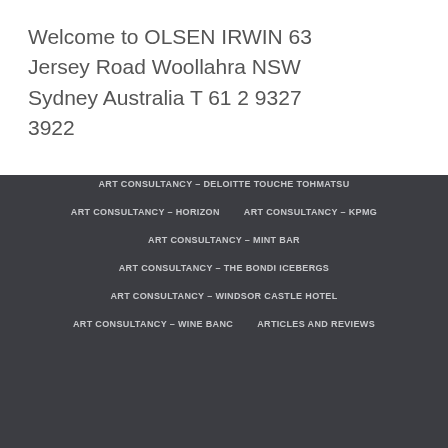Welcome to OLSEN IRWIN 63 Jersey Road Woollahra NSW Sydney Australia T 61 2 9327 3922
ART CONSULTANCY – DELOITTE TOUCHE TOHMATSU
ART CONSULTANCY – HORIZON
ART CONSULTANCY – KPMG
ART CONSULTANCY – MINT BAR
ART CONSULTANCY – THE BONDI ICEBERGS
ART CONSULTANCY – WINDSOR CASTLE HOTEL
ART CONSULTANCY – WINE BANC
ARTICLES AND REVIEWS